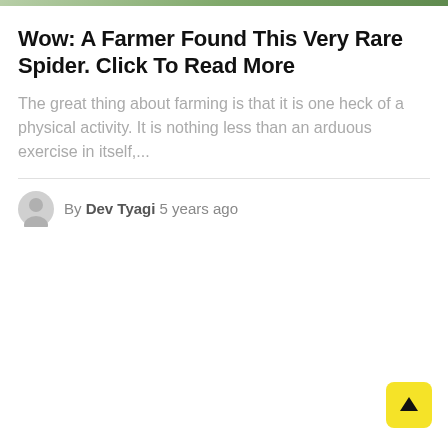[Figure (photo): Cropped top portion of an outdoor/farming photograph, visible as a thin strip at the top of the page]
Wow: A Farmer Found This Very Rare Spider. Click To Read More
The great thing about farming is that it is one heck of a physical activity. It is nothing less than an arduous exercise in itself,...
By Dev Tyagi  5 years ago